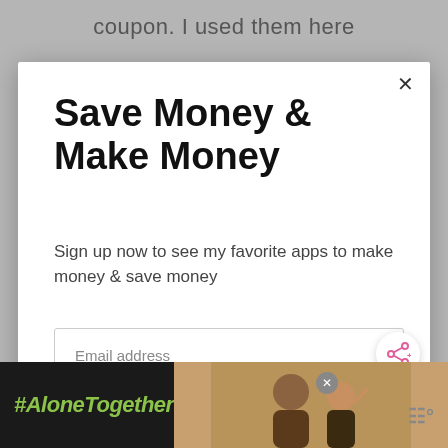coupon. I used them here
Save Money & Make Money
Sign up now to see my favorite apps to make money & save money
Email address
Get It Now
[Figure (screenshot): WHAT'S NEXT arrow label with Home Depot Penny Items... text and thumbnail image]
[Figure (screenshot): Bottom ad bar with #AloneTogether text in green on dark background, photo of people, close button, and Meredith W logo]